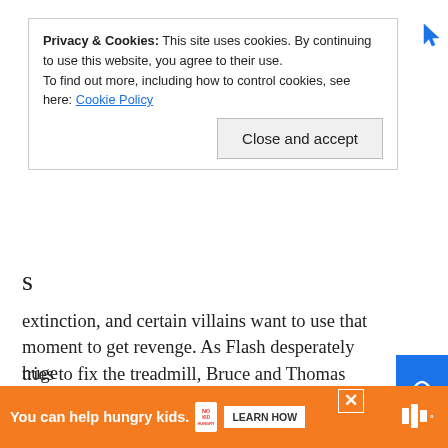Privacy & Cookies: This site uses cookies. By continuing to use this website, you agree to their use.
To find out more, including how to control cookies, see here: Cookie Policy
Close and accept
s
extinction, and certain villains want to use that moment to get revenge. As Flash desperately tries to fix the treadmill, Bruce and Thomas battle side by side. When they're about to die, they somehow become more emotional. Bruce reveals to Thomas that he's a grandfather, while they also discuss a shared memory of the time Bruce fell into the cave. Their brief reunion comes to an end as Thomas goes to face the end of the world and makes sure Ba— and Flash escape, but before that, his last message to Bruce calls up on some of King's major themes from his run. Before the issue ends, there's another encounter with Thawne – the timeline of this event is kind of mind-bending. However, there's going to be some huge
You can help hungry kids.
LEARN HOW